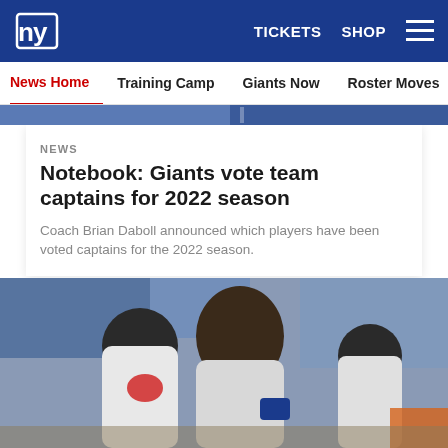NY Giants — TICKETS  SHOP  ☰
News Home  Training Camp  Giants Now  Roster Moves  Fact o
[Figure (photo): Partial photo strip at top — blue uniforms/stadium background]
NEWS
Notebook: Giants vote team captains for 2022 season
Coach Brian Daboll announced which players have been voted captains for the 2022 season.
[Figure (photo): Two Giants players in white jerseys laughing and embracing on the sideline at a stadium]
[Figure (infographic): Social share icons: Facebook, Twitter, Email, Link]